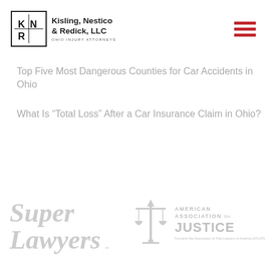[Figure (logo): Kisling, Nestico & Redick, LLC logo with KNR monogram in bordered square and text 'OHIO INJURY ATTORNEYS']
[Figure (logo): Hamburger menu icon with three red horizontal bars]
Top Five Most Dangerous Counties for Car Accidents in Ohio
What Is “Total Loss” After a Car Insurance Claim in Ohio?
[Figure (logo): Super Lawyers logo in gray serif italic font]
[Figure (logo): American Association for Justice logo with scales of justice icon, text 'AMERICAN ASSOCIATION for JUSTICE', and subtext 'Formerly the Association of Trial Lawyers of America (ATLA®)']